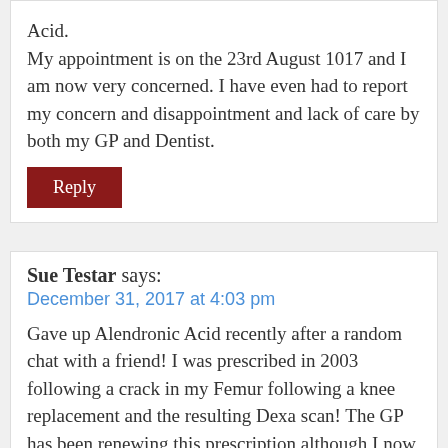Acid.
My appointment is on the 23rd August 1017 and I am now very concerned. I have even had to report my concern and disappointment and lack of care by both my GP and Dentist.
Reply
Sue Testar says:
December 31, 2017 at 4:03 pm
Gave up Alendronic Acid recently after a random chat with a friend! I was prescribed in 2003 following a crack in my Femur following a knee replacement and the resulting Dexa scan! The GP has been renewing this prescription although I now read a patient only needs to take for 2 yrs max! Angry moment!